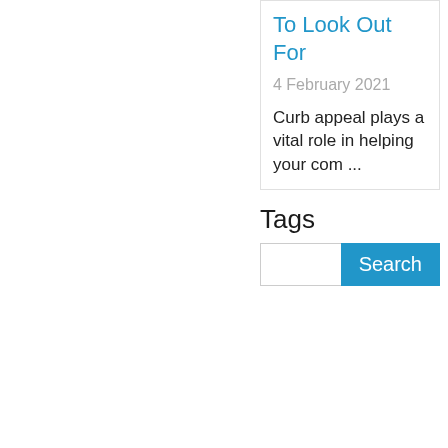To Look Out For
4 February 2021
Curb appeal plays a vital role in helping your com ...
Tags